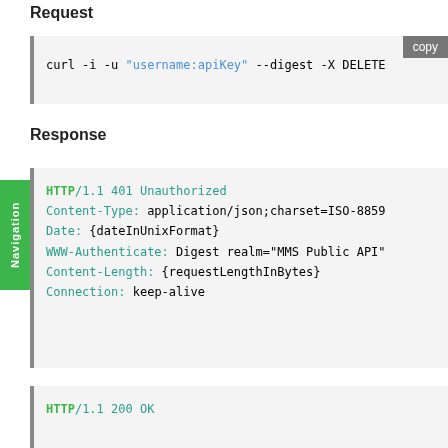Request
curl -i -u "username:apiKey" --digest -X DELETE
Response
HTTP/1.1 401 Unauthorized
Content-Type: application/json;charset=ISO-8859
Date: {dateInUnixFormat}
WWW-Authenticate: Digest realm="MMS Public API"
Content-Length: {requestLengthInBytes}
Connection: keep-alive
HTTP/1.1 200 OK